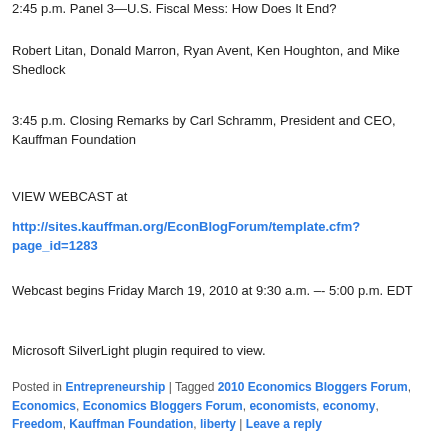2:45 p.m. Panel 3—U.S. Fiscal Mess: How Does It End?
Robert Litan, Donald Marron, Ryan Avent, Ken Houghton, and Mike Shedlock
3:45 p.m. Closing Remarks by Carl Schramm, President and CEO, Kauffman Foundation
VIEW WEBCAST at
http://sites.kauffman.org/EconBlogForum/template.cfm?page_id=1283
Webcast begins Friday March 19, 2010 at 9:30 a.m. &#8211;- 5:00 p.m. EDT
Microsoft SilverLight plugin required to view.
Posted in Entrepreneurship | Tagged 2010 Economics Bloggers Forum, Economics, Economics Bloggers Forum, economists, economy, Freedom, Kauffman Foundation, liberty | Leave a reply